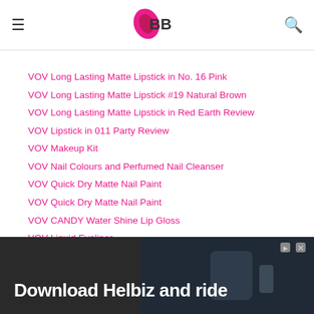IMBB
VOV Long Lasting Matte Lipstick in No. 16 Pink
VOV Long Lasting Matte Lipstick #19 Natural Brown
VOV Long Lasting Matte Lipstick in Red Earth Review
VOV Lipstick in 011 Party Review
VOV Makeup Kit
VOV Nail Colours and Perfumed Nail Cleanser
VOV Quick Dry Matte Nail Paint
VOV Quick Dry Matte Nail Paint
VOV CANDY Water Shine Lip Gloss
VOV Liquid Eyeliner
VOV Nail Paint French Manicure Kit
VOV Professional Trio Blusher in 01
The Most Dangerous Nail Paint by VOV
VOV Neon Nail Paints
[Figure (screenshot): Download Helbiz and ride advertisement banner at the bottom of the page]